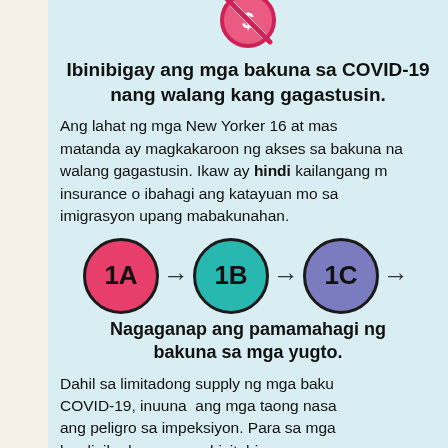[Figure (infographic): No money / no cost icon at top center — a dollar sign in a red circle with a diagonal slash]
Ibinibigay ang mga bakuna sa COVID-19 nang walang kang gagastusin.
Ang lahat ng mga New Yorker 16 at mas matanda ay magkakaroon ng akses sa bakuna nang walang gagastusin. Ikaw ay hindi kailangang magkaroon ng insurance o ibahagi ang katayuan mo sa imigrasyon upang mabakunahan.
[Figure (infographic): Three circles in a row connected by arrows: 1A (pink/red), arrow, 1B (teal), arrow, 1C (purple/blue), arrow pointing right — showing COVID vaccine distribution phases]
Nagaganap ang pamamahagi ng bakuna sa mga yugto.
Dahil sa limitadong supply ng mga bakuna sa COVID-19, inuuna ang mga taong nasa mas mataas ang peligro sa impeksiyon. Para sa mga kwalipikadong grupo, bisitahin ang